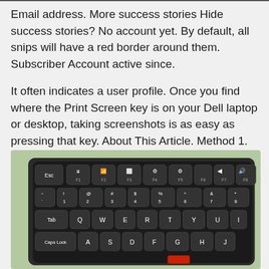Email address. More success stories Hide success stories? No account yet. By default, all snips will have a red border around them. Subscriber Account active since.
It often indicates a user profile. Once you find where the Print Screen key is on your Dell laptop or desktop, taking screenshots is as easy as pressing that key. About This Article. Method 1.
[Figure (photo): Close-up photo of a dark laptop keyboard showing keys: Esc, F1-F9, number row (1-8), Tab row (Q-I), and Caps Lock row (A-J). Keys are black with white lettering on a dark keyboard body.]